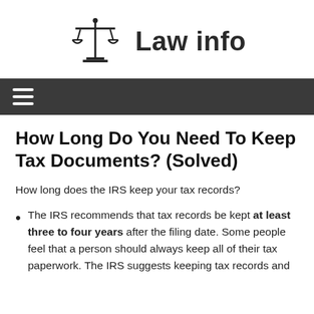Law info
[Figure (logo): Scales of justice icon]
How Long Do You Need To Keep Tax Documents? (Solved)
How long does the IRS keep your tax records?
The IRS recommends that tax records be kept at least three to four years after the filing date. Some people feel that a person should always keep all of their tax paperwork. The IRS suggests keeping tax records and